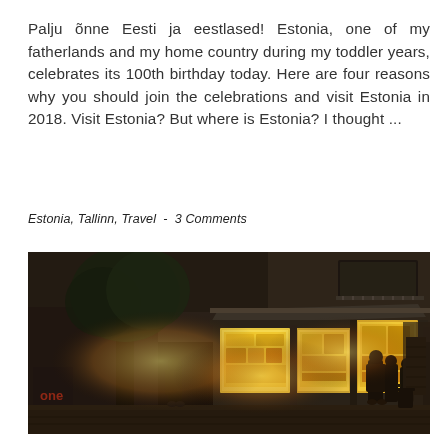Palju õnne Eesti ja eestlased! Estonia, one of my fatherlands and my home country during my toddler years, celebrates its 100th birthday today. Here are four reasons why you should join the celebrations and visit Estonia in 2018. Visit Estonia? But where is Estonia? I thought ...
Estonia, Tallinn, Travel  -  3 Comments
[Figure (photo): Nighttime street scene showing a brightly lit corner kiosk/newsstand with people standing around it, trees, and a multi-story building in the background. The kiosk glows with warm yellow light against the dark surroundings.]